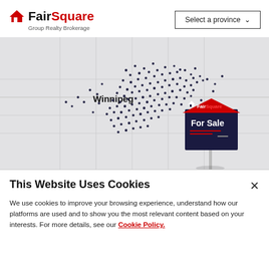FairSquare Group Realty Brokerage | Select a province
[Figure (map): Map of Winnipeg area showing property listings as dots clustered around the city center, with a FairSquare 'For Sale' yard sign graphic in the lower right portion of the map.]
This Website Uses Cookies
We use cookies to improve your browsing experience, understand how our platforms are used and to show you the most relevant content based on your interests. For more details, see our Cookie Policy.